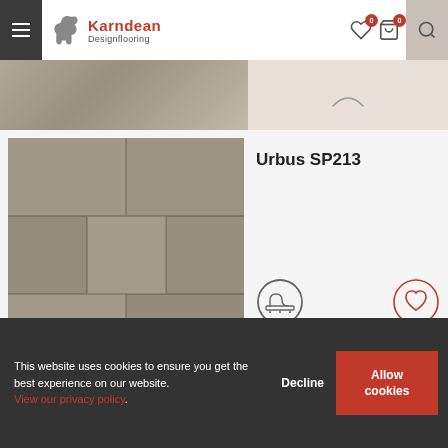Karndean Designflooring
[Figure (photo): Partial view of a flooring product image (top strip, cut off)]
[Figure (photo): Urbus SP213 stone-effect vinyl floor tiles in grey/taupe tones, shown as a grid of rectangular tiles]
Urbus SP213
[Figure (other): Underfloor heating compatible icon — circle with heating coil symbol]
[Figure (other): Wishlist heart icon (outlined, within a circle border)]
This website uses cookies to ensure you get the best experience on our website. View our privacy policy.
Decline
Allow cookies